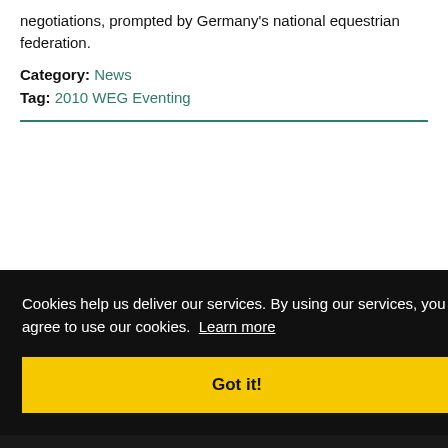negotiations, prompted by Germany's national equestrian federation.
Category: News
Tag: 2010 WEG Eventing
Cookies help us deliver our services. By using our services, you agree to use our cookies. Learn more
Got it!
[Figure (photo): Partial photo visible at bottom of page, appears to show a person (possibly equestrian), mostly obscured by cookie consent overlay]